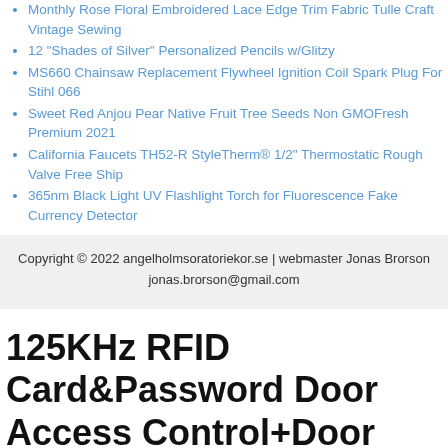Monthly Rose Floral Embroidered Lace Edge Trim Fabric Tulle Craft Vintage Sewing
12 "Shades of Silver" Personalized Pencils w/Glitzy
MS660 Chainsaw Replacement Flywheel Ignition Coil Spark Plug For Stihl 066
Sweet Red Anjou Pear Native Fruit Tree Seeds Non GMOFresh Premium 2021
California Faucets TH52-R StyleTherm® 1/2" Thermostatic Rough Valve Free Ship
365nm Black Light UV Flashlight Torch for Fluorescence Fake Currency Detector
Copyright © 2022 angelholmsoratoriekor.se | webmaster Jonas Brorson jonas.brorson@gmail.com
125KHz RFID Card&Password Door Access Control+Door Magnetic Lock Touchless Exit